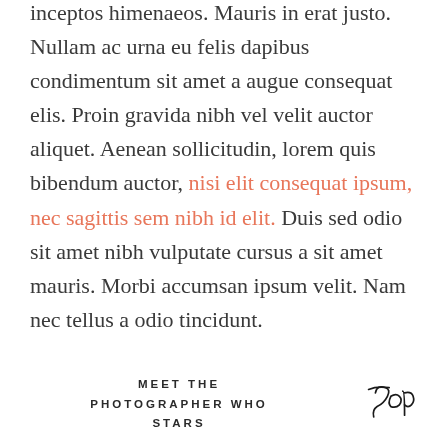inceptos himenaeos. Mauris in erat justo. Nullam ac urna eu felis dapibus condimentum sit amet a augue consequat elis. Proin gravida nibh vel velit auctor aliquet. Aenean sollicitudin, lorem quis bibendum auctor, nisi elit consequat ipsum, nec sagittis sem nibh id elit. Duis sed odio sit amet nibh vulputate cursus a sit amet mauris. Morbi accumsan ipsum velit. Nam nec tellus a odio tincidunt.
MEET THE PHOTOGRAPHER WHO STARS